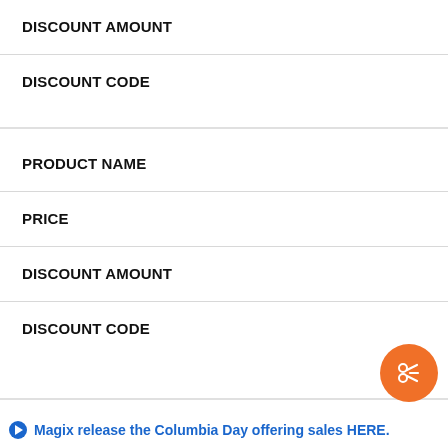| DISCOUNT AMOUNT |
| DISCOUNT CODE |
| PRODUCT NAME |
| PRICE |
| DISCOUNT AMOUNT |
| DISCOUNT CODE |
Magix release the Columbia Day offering sales HERE.